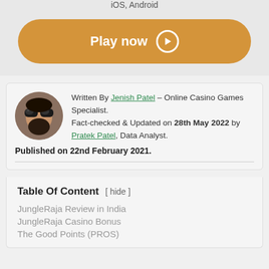iOS, Android
Play now
Written By Jenish Patel – Online Casino Games Specialist. Fact-checked & Updated on 28th May 2022 by Pratek Patel, Data Analyst. Published on 22nd February 2021.
Table Of Content [ hide ]
JungleRaja Review in India
JungleRaja Casino Bonus
The Good Points (PROS)